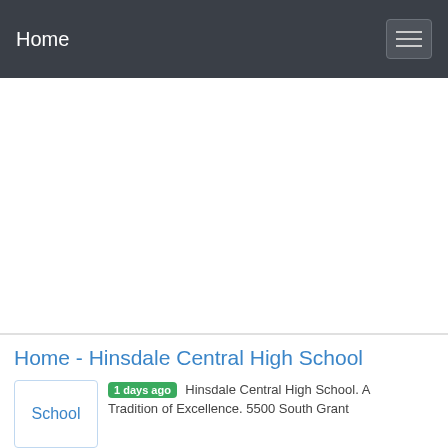Home
Home - Hinsdale Central High School
1 days ago  Hinsdale Central High School. A Tradition of Excellence. 5500 South Grant